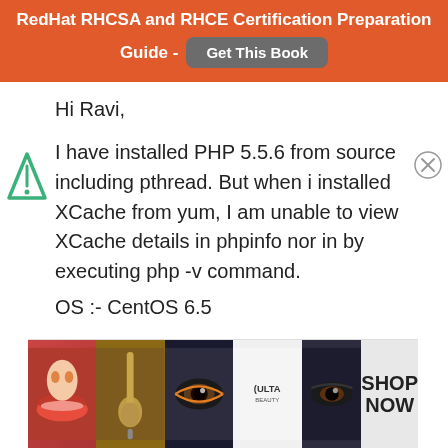RedHat RHCSA and RHCE Certification Preparation Guide - Get This Book
Hi Ravi,
I have installed PHP 5.5.6 from source including pthread. But when i installed XCache from yum, I am unable to view XCache details in phpinfo nor in by executing php -v command.
OS :- CentOS 6.5
[Figure (illustration): Advertisement banner for ULTA beauty products showing makeup and eyes, with SHOP NOW text]